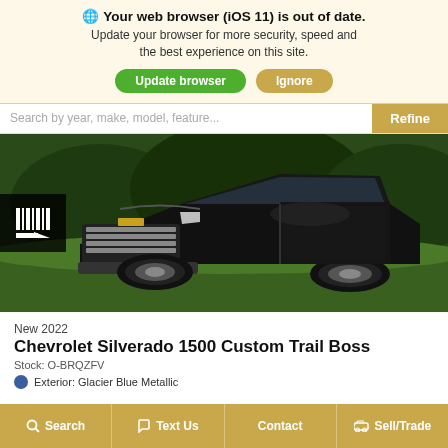🌐 Your web browser (iOS 11) is out of date. Update your browser for more security, speed and the best experience on this site.
Update browser | Ignore
Search by year, make, model, feature...
[Figure (photo): A black Chevrolet Silverado 1500 Custom Trail Boss truck parked on grass with trees in the background]
New 2022
Chevrolet Silverado 1500 Custom Trail Boss
Stock: O-BRQZFV
Exterior: Glacier Blue Metallic
Search | Text Us | Contact | Sell/Trade